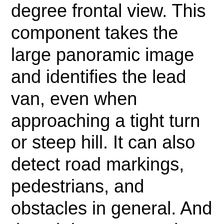degree frontal view. This component takes the large panoramic image and identifies the lead van, even when approaching a tight turn or steep hill. It can also detect road markings, pedestrians, and obstacles in general. And though it can recognize Italian traffic signs, it can't do the same for those in Russian or Chinese. The vans are manufactured by Piaggio, better known for its Vespa scooters. The vans are fully electric, and the researchers drive them in the